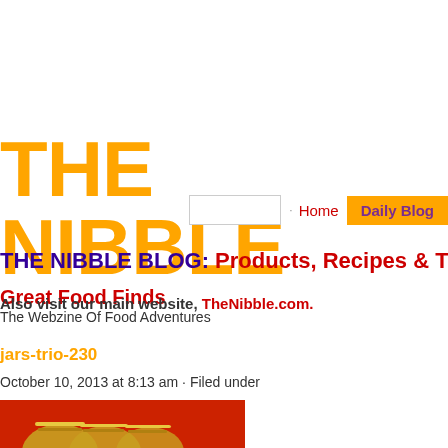THE NIBBLE
Great Food Finds
The Webzine Of Food Adventures
Home  Daily Blog
THE NIBBLE BLOG: Products, Recipes & Tren...
Also visit our main website, TheNibble.com.
jars-trio-230
October 10, 2013 at 8:13 am · Filed under
[Figure (photo): Photo of mason jars trio against a red background, partially cropped at the bottom of the page]